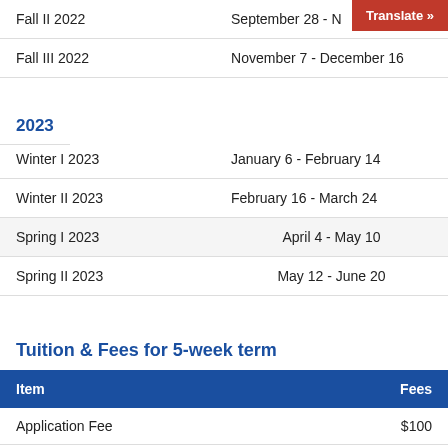| Term | Dates |
| --- | --- |
| Fall II 2022 | September 28 - No... |
| Fall III 2022 | November 7 - December 16 |
2023
| Term | Dates |
| --- | --- |
| Winter I 2023 | January 6 - February 14 |
| Winter II 2023 | February 16 - March 24 |
| Spring I 2023 | April 4 - May 10 |
| Spring II 2023 | May 12 - June 20 |
Tuition & Fees for 5-week term
| Item | Fees |
| --- | --- |
| Application Fee | $100 |